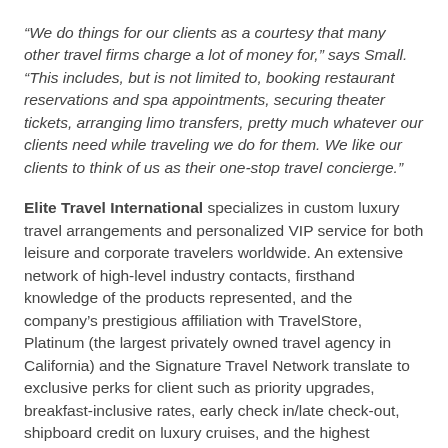“We do things for our clients as a courtesy that many other travel firms charge a lot of money for,” says Small. “This includes, but is not limited to, booking restaurant reservations and spa appointments, securing theater tickets, arranging limo transfers, pretty much whatever our clients need while traveling we do for them. We like our clients to think of us as their one-stop travel concierge.”
Elite Travel International specializes in custom luxury travel arrangements and personalized VIP service for both leisure and corporate travelers worldwide. An extensive network of high-level industry contacts, firsthand knowledge of the products represented, and the company’s prestigious affiliation with TravelStore, Platinum (the largest privately owned travel agency in California) and the Signature Travel Network translate to exclusive perks for client such as priority upgrades, breakfast-inclusive rates, early check in/late check-out, shipboard credit on luxury cruises, and the highest possible level of service at hotels and resorts around the globe.